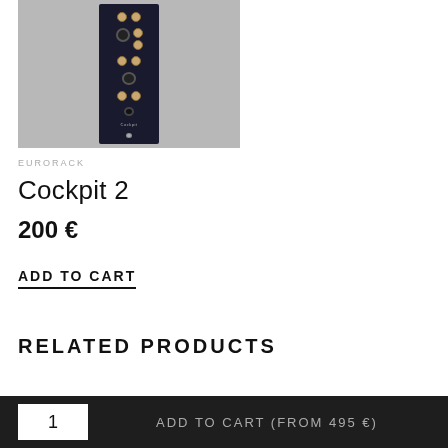[Figure (photo): Eurorack module panel (Cockpit 2) on a grey background — narrow dark PCB with knobs, jacks, and illuminated controls]
EURORACK
Cockpit 2
200 €
ADD TO CART
RELATED PRODUCTS
1
ADD TO CART  (From 495 €)